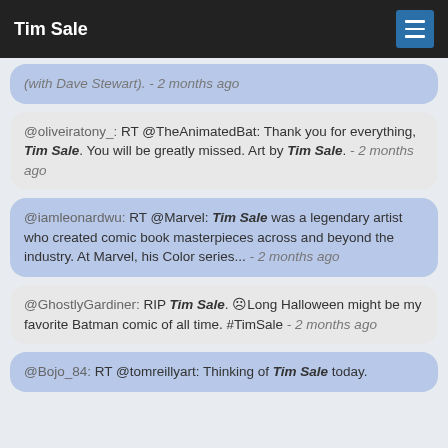Tim Sale
(with Dave Stewart). - 2 months ago
@oliveiratony_: RT @TheAnimatedBat: Thank you for everything, Tim Sale. You will be greatly missed. Art by Tim Sale. - 2 months ago
@iamleonardwu: RT @Marvel: Tim Sale was a legendary artist who created comic book masterpieces across and beyond the industry. At Marvel, his Color series... - 2 months ago
@GhostlyGardiner: RIP Tim Sale. ☹ Long Halloween might be my favorite Batman comic of all time. #TimSale - 2 months ago
@Bojo_84: RT @tomreillyart: Thinking of Tim Sale today.